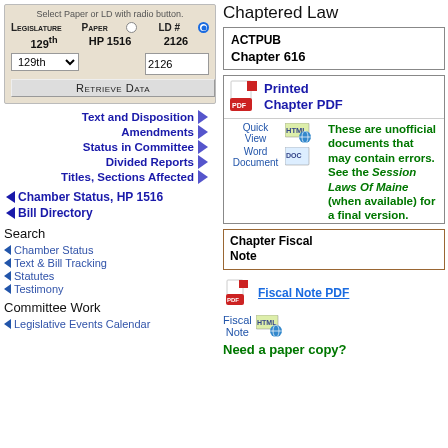Select Paper or LD with radio button.
| Legislature | Paper |  | LD # |  |
| --- | --- | --- | --- | --- |
| 129th | HP 1516 |  | 2126 |  |
| 129th (dropdown) |  |  | 2126 |  |
Retrieve Data
Text and Disposition
Amendments
Status in Committee
Divided Reports
Titles, Sections Affected
Chamber Status, HP 1516
Bill Directory
Search
Chamber Status
Text & Bill Tracking
Statutes
Testimony
Committee Work
Legislative Events Calendar
Chaptered Law
ACTPUB
Chapter 616
Printed Chapter PDF
Quick View
Word Document
These are unofficial documents that may contain errors. See the Session Laws Of Maine (when available) for a final version.
Chapter Fiscal Note
Fiscal Note PDF
Fiscal Note
Need a paper copy?